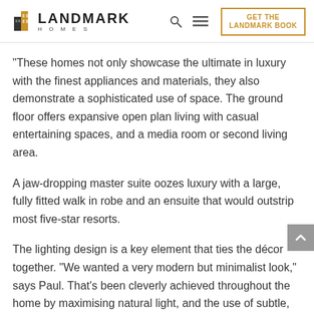LANDMARK HOMES — GET THE LANDMARK BOOK
“These homes not only showcase the ultimate in luxury with the finest appliances and materials, they also demonstrate a sophisticated use of space. The ground floor offers expansive open plan living with casual entertaining spaces, and a media room or second living area.
A jaw-dropping master suite oozes luxury with a large, fully fitted walk in robe and an ensuite that would outstrip most five-star resorts.
The lighting design is a key element that ties the décor together. “We wanted a very modern but minimalist look,” says Paul. That’s been cleverly achieved throughout the home by maximising natural light, and the use of subtle, soft backlighting